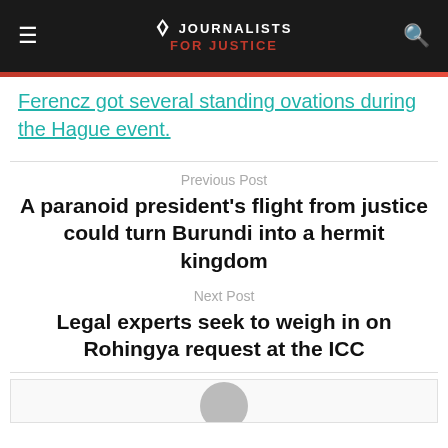JOURNALISTS FOR JUSTICE
Ferencz got several standing ovations during the Hague event.
Previous Post
A paranoid president's flight from justice could turn Burundi into a hermit kingdom
Next Post
Legal experts seek to weigh in on Rohingya request at the ICC